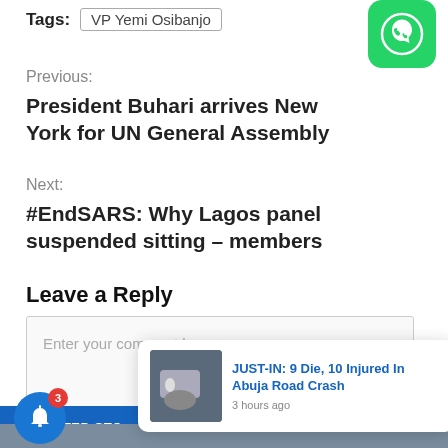Tags: VP Yemi Osibanjo
Previous:
President Buhari arrives New York for UN General Assembly
Next:
#EndSARS: Why Lagos panel suspended sitting – members
Leave a Reply
Enter your comment here...
JUST-IN: 9 Die, 10 Injured In Abuja Road Crash
3 hours ago